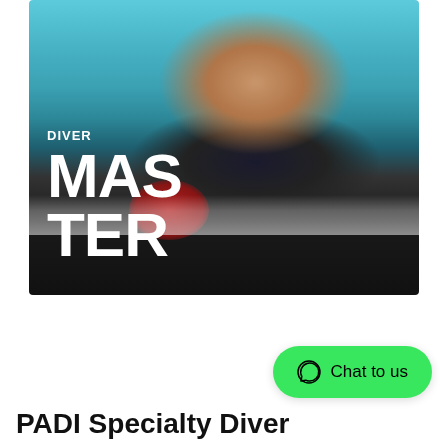[Figure (photo): Woman scuba diver wearing a black and red Pinnacle wetsuit with Seacs BCD and tank, smiling at camera, with turquoise water in background. Text overlay reads 'DIVER' and 'MASTER' in large white bold letters.]
[Figure (other): Green rounded button with WhatsApp icon and text 'Chat to us']
PADI Specialty Diver